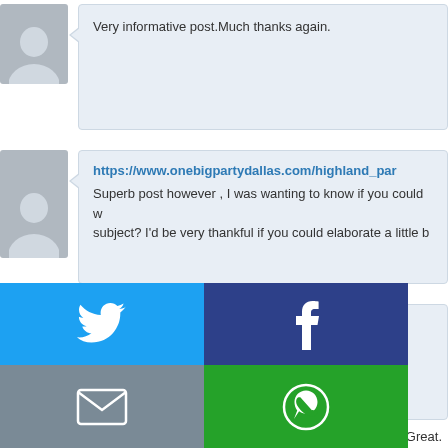Very informative post.Much thanks again.
https://www.onebigpartydallas.com/highland_par
Superb post however , I was wanting to know if you could write a litte more on this subject? I'd be very thankful if you could elaborate a little b
defence services online   June 21, 2022 at 5:25 pm
ng.
022 at 2:29 pm
ank you! Great.
[Figure (infographic): Social share buttons overlay showing Twitter (blue), Facebook (dark blue), Email (gray), WhatsApp (green), SMS (blue), and a circular arrow icon (green)]